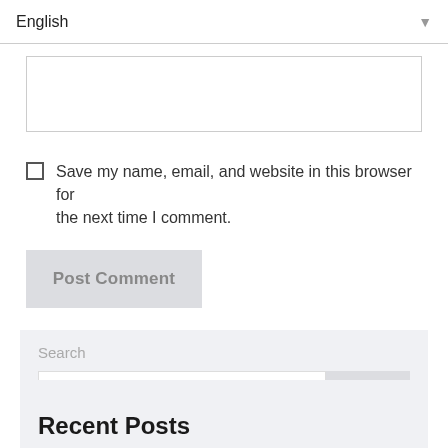English
[Figure (screenshot): Text input field (empty, white background with border)]
Save my name, email, and website in this browser for the next time I comment.
Post Comment
Search
[Figure (screenshot): Search input field with Search button]
Recent Posts